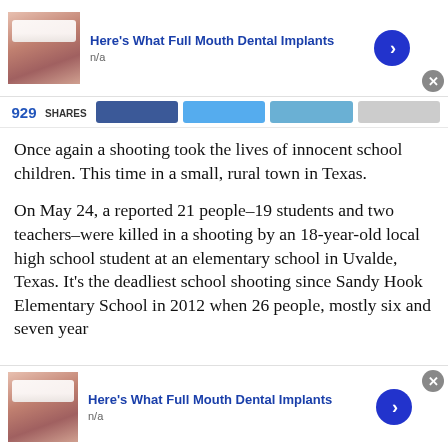[Figure (photo): Advertisement banner: dental implants ad with photo of teeth, title 'Here's What Full Mouth Dental Implants', subtitle 'n/a', blue arrow button, close X button]
SHARES
Once again a shooting took the lives of innocent school children. This time in a small, rural town in Texas.
On May 24, a reported 21 people–19 students and two teachers–were killed in a shooting by an 18-year-old local high school student at an elementary school in Uvalde, Texas. It's the deadliest school shooting since Sandy Hook Elementary School in 2012 when 26 people, mostly six and seven year
[Figure (photo): Advertisement banner at bottom: dental implants ad with photo of teeth, title 'Here's What Full Mouth Dental Implants', subtitle 'n/a', blue arrow button, close X button]